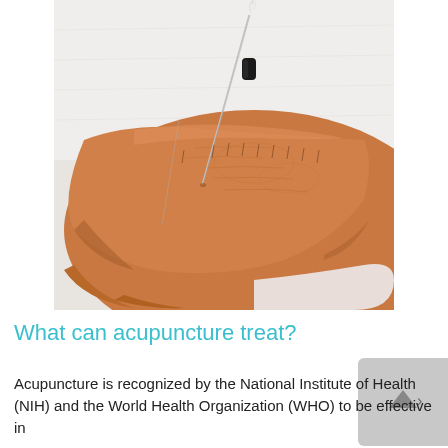[Figure (photo): Close-up photograph of a human wrist/forearm with an acupuncture needle inserted into the skin. The needle has a small dark cylindrical handle. The background is white fabric/cloth.]
What can acupuncture treat?
Acupuncture is recognized by the National Institute of Health (NIH) and the World Health Organization (WHO) to be effective in